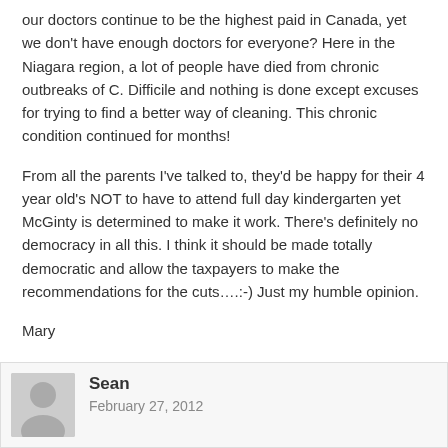our doctors continue to be the highest paid in Canada, yet we don't have enough doctors for everyone? Here in the Niagara region, a lot of people have died from chronic outbreaks of C. Difficile and nothing is done except excuses for trying to find a better way of cleaning. This chronic condition continued for months!
From all the parents I've talked to, they'd be happy for their 4 year old's NOT to have to attend full day kindergarten yet McGinty is determined to make it work. There's definitely no democracy in all this. I think it should be made totally democratic and allow the taxpayers to make the recommendations for the cuts….:-) Just my humble opinion.
Mary
Reply
Sean
February 27, 2012